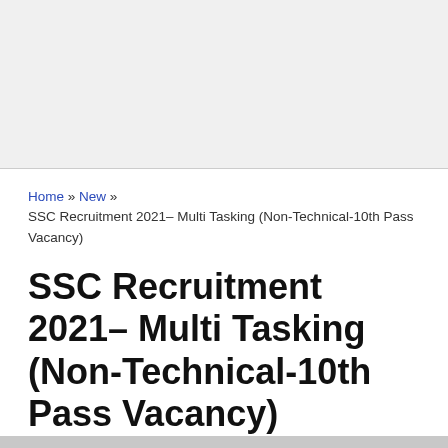Home » New » SSC Recruitment 2021– Multi Tasking (Non-Technical-10th Pass Vacancy)
SSC Recruitment 2021– Multi Tasking (Non-Technical-10th Pass Vacancy)